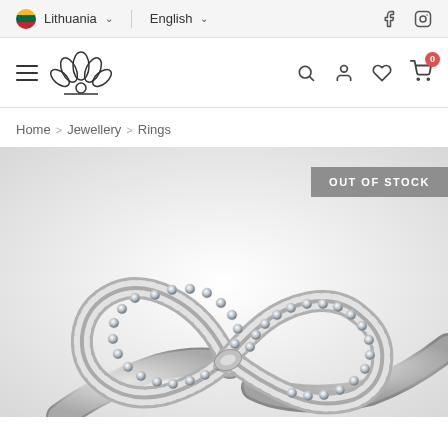Lithuania  English  [social icons]
[Figure (logo): Lotus flower jewellery brand logo with navigation icons (hamburger menu, search, account, wishlist, cart with 0 badge)]
Home > Jewellery > Rings
[Figure (photo): Close-up photo of a diamond-encrusted infinity symbol silver ring on white background. OUT OF STOCK badge visible in top right.]